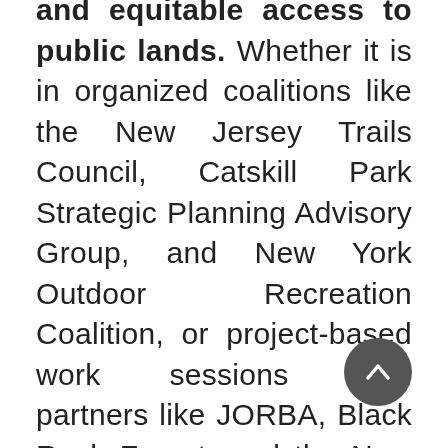and equitable access to public lands. Whether it is in organized coalitions like the New Jersey Trails Council, Catskill Park Strategic Planning Advisory Group, and New York Outdoor Recreation Coalition, or project-based work sessions with partners like JORBA, Black Rock Forest, and the New Jersey Palisades Interstate Park Coalition, we will join forces with stakeholders to address issues such as overcrowding at trailheads and obstacles to diversity outdoors.